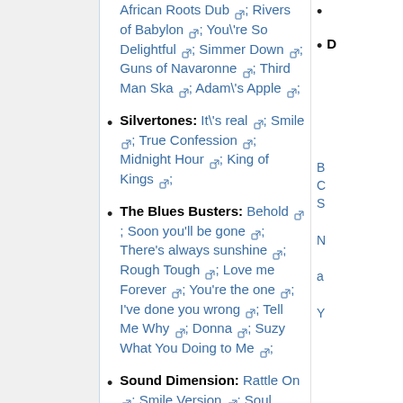African Roots Dub; Rivers of Babylon; You're So Delightful; Simmer Down; Guns of Navaronne; Third Man Ska; Adam's Apple;
Silvertones: It's real; Smile; True Confession; Midnight Hour; King of Kings;
The Blues Busters: Behold; Soon you'll be gone; There's always sunshine; Rough Tough; Love me Forever; You're the one; I've done you wrong; Tell Me Why; Donna; Suzy What You Doing to Me;
Sound Dimension: Rattle On; Smile Version; Soul Food; Congo Rock;